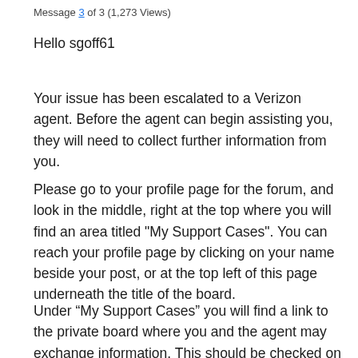Message 3 of 3 (1,273 Views)
Hello sgoff61
Your issue has been escalated to a Verizon agent. Before the agent can begin assisting you, they will need to collect further information from you.
Please go to your profile page for the forum, and look in the middle, right at the top where you will find an area titled "My Support Cases". You can reach your profile page by clicking on your name beside your post, or at the top left of this page underneath the title of the board.
Under “My Support Cases” you will find a link to the private board where you and the agent may exchange information. This should be checked on a frequent basis